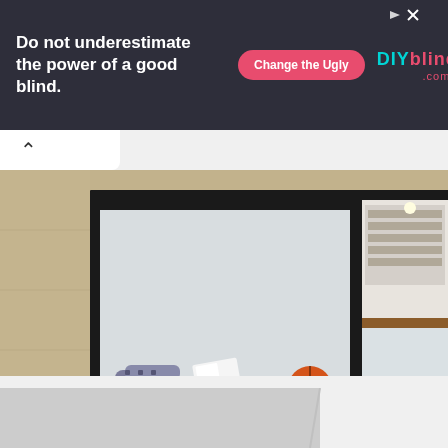[Figure (screenshot): Advertisement banner: dark background with text 'Do not underestimate the power of a good blind.' and a pink 'Change the Ugly' button and DIYblinds.com.au logo in teal/pink]
[Figure (photo): Interior architectural photo showing a child lying on a window seat reading a book in a concrete-walled room with a black-framed window; a basketball and books are on the window seat; the right side shows a glass-railed staircase and bookshelf]
[Figure (photo): Partial view of a second interior photo showing grey and white minimalist surfaces, partially visible at the bottom of the page]